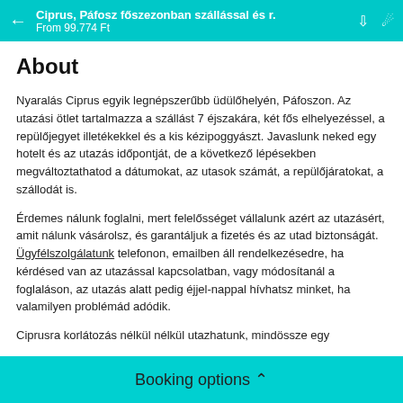Ciprus, Páfosz főszezonban szállással és r. | From 99.774 Ft
About
Nyaralás Ciprus egyik legnépszerűbb üdülőhelyén, Páfoszon. Az utazási ötlet tartalmazza a szállást 7 éjszakára, két fős elhelyezéssel, a repülőjegyet illetékekkel és a kis kézipoggyászt. Javaslunk neked egy hotelt és az utazás időpontját, de a következő lépésekben megváltoztathatod a dátumokat, az utasok számát, a repülőjáratokat, a szállodát is.
Érdemes nálunk foglalni, mert felelősséget vállalunk azért az utazásért, amit nálunk vásárolsz, és garantáljuk a fizetés és az utad biztonságát. Ügyfélszolgálatunk telefonon, emailben áll rendelkezésedre, ha kérdésed van az utazással kapcsolatban, vagy módosítanál a foglaláson, az utazás alatt pedig éjjel-nappal hívhatsz minket, ha valamilyen problémád adódik.
Ciprusra korlátozás nélkül nélkül utazhatunk, mindössze egy
Booking options ∧